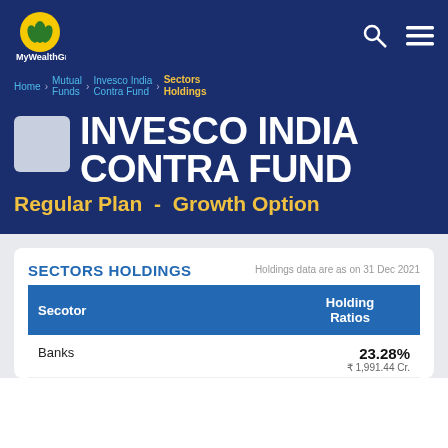[Figure (logo): MyWealthGrowth logo with yellow circle and green leaves, white text below]
MyWealthGrowth
Home > Mutual Funds > Invesco India Contra Fund > Sectors Holdings
INVESCO INDIA CONTRA FUND
Regular Plan  -  Growth Option
SECTORS HOLDINGS
Holdings data are as on 31 Dec 2021
| Secotor | Holding Ratios |
| --- | --- |
| Banks | 23.28%
₹ 1,991.44 Cr. |